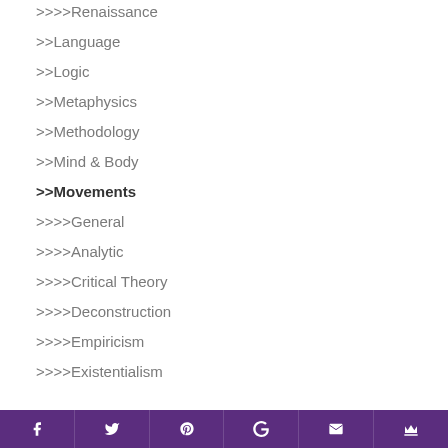>>>>Renaissance
>>Language
>>Logic
>>Metaphysics
>>Methodology
>>Mind & Body
>>Movements
>>>>General
>>>>Analytic
>>>>Critical Theory
>>>>Deconstruction
>>>>Empiricism
>>>>Existentialism
f  t  p  G+  mail  crown